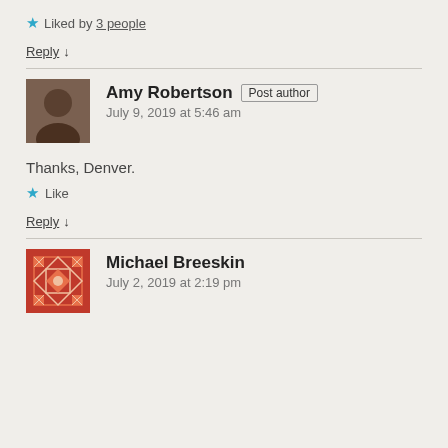★ Liked by 3 people
Reply ↓
Amy Robertson  Post author
July 9, 2019 at 5:46 am
Thanks, Denver.
★ Like
Reply ↓
Michael Breeskin
July 2, 2019 at 2:19 pm